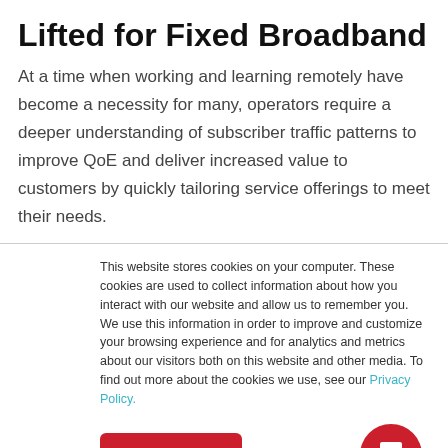Lifted for Fixed Broadband
At a time when working and learning remotely have become a necessity for many, operators require a deeper understanding of subscriber traffic patterns to improve QoE and deliver increased value to customers by quickly tailoring service offerings to meet their needs.
This website stores cookies on your computer. These cookies are used to collect information about how you interact with our website and allow us to remember you. We use this information in order to improve and customize your browsing experience and for analytics and metrics about our visitors both on this website and other media. To find out more about the cookies we use, see our Privacy Policy.